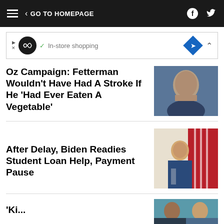< GO TO HOMEPAGE
[Figure (other): Advertisement banner with logo, checkmark, 'In-store shopping' text, blue diamond arrow icon, and collapse caret]
Oz Campaign: Fetterman Wouldn't Have Had A Stroke If He 'Had Ever Eaten A Vegetable'
[Figure (photo): Photo of a man (Dr. Oz) against a blue background, close-up face shot]
After Delay, Biden Readies Student Loan Help, Payment Pause
[Figure (photo): Photo of President Biden at podium with American flag in background]
'Ki....' H...l...
[Figure (photo): Partial photo visible at bottom of page, two faces side by side]